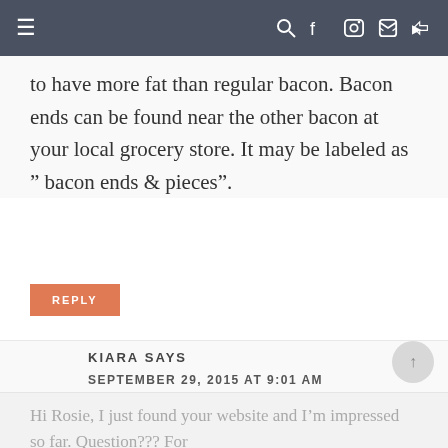≡  🔍 f 📷 𝐏 ▶
to have more fat than regular bacon. Bacon ends can be found near the other bacon at your local grocery store. It may be labeled as ” bacon ends & pieces”.
REPLY
KIARA SAYS
SEPTEMBER 29, 2015 AT 9:01 AM
Hi Rosie, I just found your website and I'm impressed so far. Question???  For